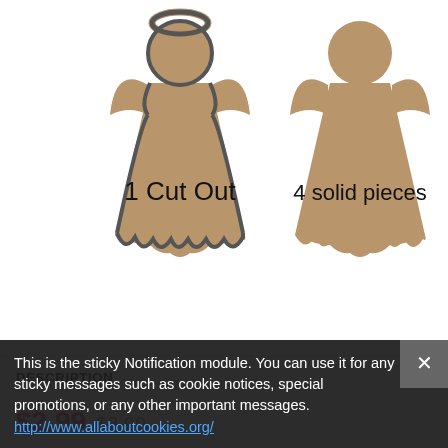[Figure (illustration): Two angel/gingerbread girl shaped cut-outs in tan/brown color. Left one labeled '1 Cut Out' with outline detail. Right one labeled '4 solid pieces' as a solid silhouette.]
DESCRIPTION →
$2.99  $3.99
This is the sticky Notification module. You can use it for any sticky messages such as cookie notices, special promotions, or any other important messages.
http://www.allaboutcookies.org/